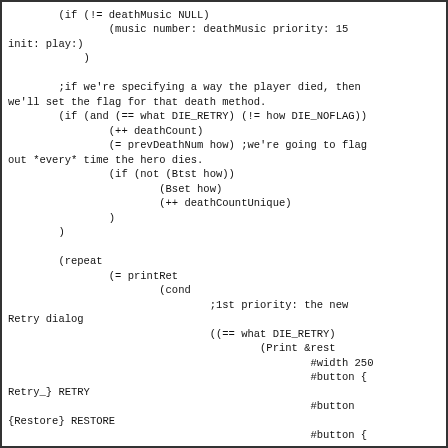(if (!= deathMusic NULL)
                (music number: deathMusic priority: 15
init: play:)
            )

        ;if we're specifying a way the player died, then
we'll set the flag for that death method.
        (if (and (== what DIE_RETRY) (!= how DIE_NOFLAG))
                (++ deathCount)
                (= prevDeathNum how) ;we're going to flag
out *every* time the hero dies.
                (if (not (Btst how))
                        (Bset how)
                        (++ deathCountUnique)
                )
        )

        (repeat
                (= printRet
                        (cond
                                ;1st priority: the new
Retry dialog
                                ((== what DIE_RETRY)
                                        (Print &rest
                                                #width 250
                                                #button {
Retry_} RETRY
                                                #button
{Restore} RESTORE
                                                #button {
Quit_} QUIT
                                                )
                                )
                                ;2nd priority: an explicit
DIE_RESTART flag with no second parameter
                                ((== what DIE_RESTART)
                                        (Print how &rest
                                                #width 250
                                                #button
{Restore} RESTORE